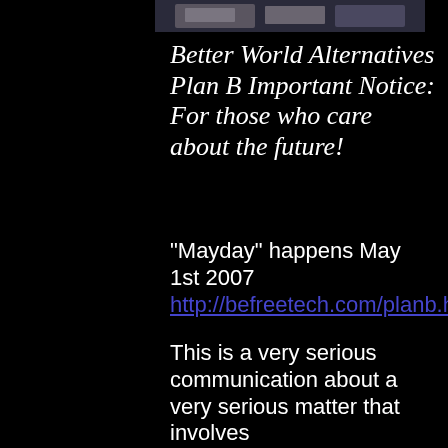[Figure (photo): Partial photo of what appears to be a room or furniture, shown at the top of the page]
Better World Alternatives Plan B Important Notice: For those who care about the future!
"Mayday" happens May 1st 2007 http://befreetech.com/planb.htm
This is a very serious communication about a very serious matter that involves